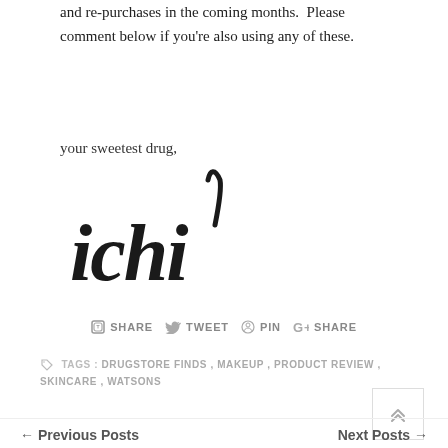and re-purchases in the coming months.  Please comment below if you're also using any of these.
your sweetest drug,
[Figure (illustration): Handwritten cursive signature reading 'ichi' in a stylized script font]
SHARE  TWEET  PIN  SHARE
TAGS : DRUGSTORE FINDS , MAKEUP , PRODUCT REVIEW , SKINCARE , WATSONS
← Previous Posts    Next Posts →